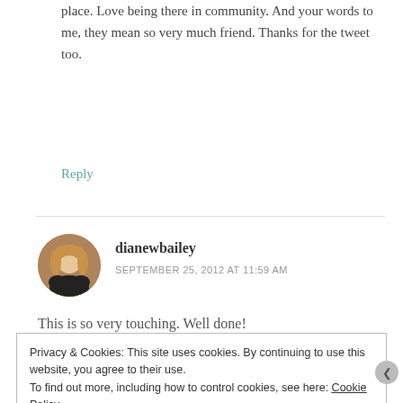place. Love being there in community. And your words to me, they mean so very much friend. Thanks for the tweet too.
Reply
dianewbailey
SEPTEMBER 25, 2012 AT 11:59 AM
This is so very touching. Well done!
Privacy & Cookies: This site uses cookies. By continuing to use this website, you agree to their use. To find out more, including how to control cookies, see here: Cookie Policy
Close and accept